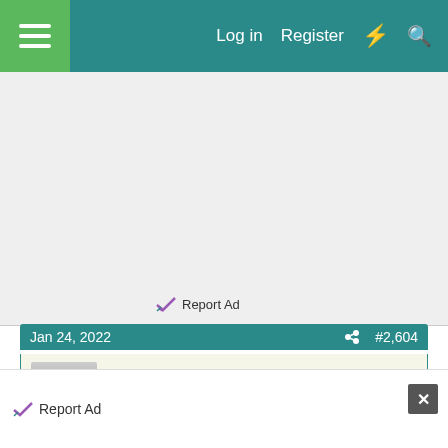Log in  Register
[Figure (other): Advertisement block (gray placeholder)]
Report Ad
Jan 24, 2022  #2,604
Nancy McClelland
Larry  Supporting Member
One really likes toys and the other one loves roaming thru his cardboard castle. T P B M , what is something
Report Ad